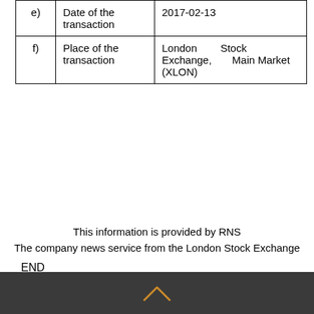| e) | Date of the transaction | 2017-02-13 |
| f) | Place of the transaction | London Stock Exchange, Main Market (XLON) |
This information is provided by RNS
The company news service from the London Stock Exchange
END
DSHLLFLEFEISLID